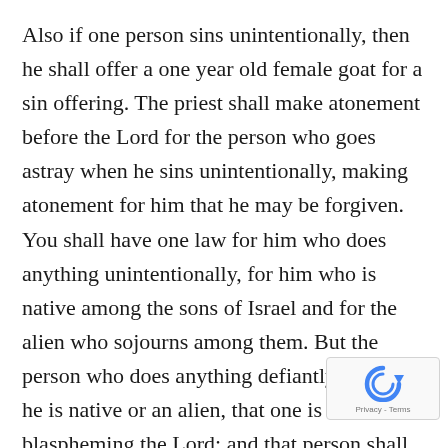Also if one person sins unintentionally, then he shall offer a one year old female goat for a sin offering. The priest shall make atonement before the Lord for the person who goes astray when he sins unintentionally, making atonement for him that he may be forgiven. You shall have one law for him who does anything unintentionally, for him who is native among the sons of Israel and for the alien who sojourns among them. But the person who does anything defiantly, whether he is native or an alien, that one is blaspheming the Lord; and that person shall be cut off from among his people. Because he has despised the word of the Lord and has broken His commandment, that person shall be completely cut off; his guilt will be on him (Numb 15:27-31).
[Figure (logo): reCAPTCHA badge with blue circular arrow icon and Privacy - Terms text]